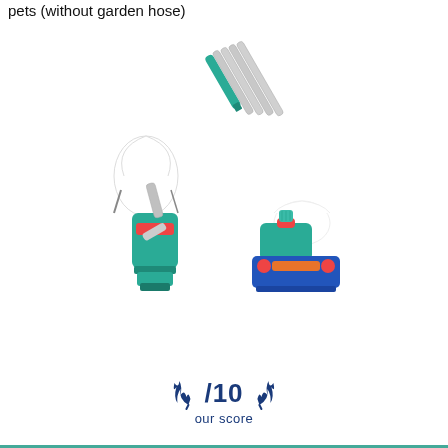pets (without garden hose)
[Figure (photo): Product photo showing a garden vacuum/blower tool with teal/green body, metal extension tubes, red accents, blue brush head attachment, and white collection bag. Two views shown: assembled unit with bag and extension tube, and a close-up of the brush/nozzle head being held by a gloved hand. Several silver metal extension tubes are shown above.]
/10 our score